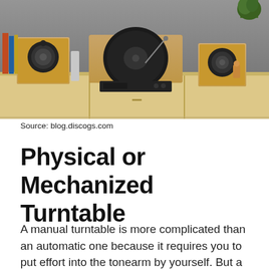[Figure (photo): A photograph of a wooden turntable and speaker system sitting on a light wood credenza cabinet, with books and decorative items in the background against a concrete wall.]
Source: blog.discogs.com
Physical or Mechanized Turntable
A manual turntable is more complicated than an automatic one because it requires you to put effort into the tonearm by yourself. But a mechanized turntable works by itself. All you have to do is push a button and the record will start playing and stopping automatically